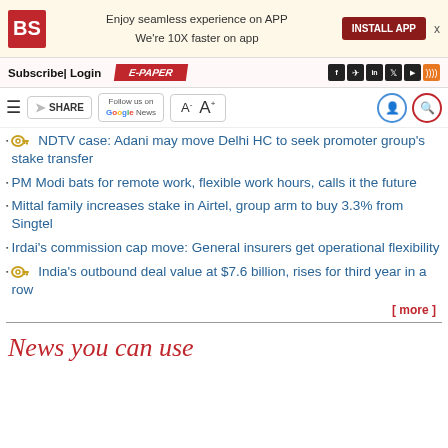BS | Enjoy seamless experience on APP We're 10X faster on app | INSTALL APP
Subscribe| Login | E-PAPER
SHARE | Follow us on Google News | A- A+
NDTV case: Adani may move Delhi HC to seek promoter group's stake transfer
PM Modi bats for remote work, flexible work hours, calls it the future
Mittal family increases stake in Airtel, group arm to buy 3.3% from Singtel
Irdai's commission cap move: General insurers get operational flexibility
India's outbound deal value at $7.6 billion, rises for third year in a row
[ more ]
News you can use